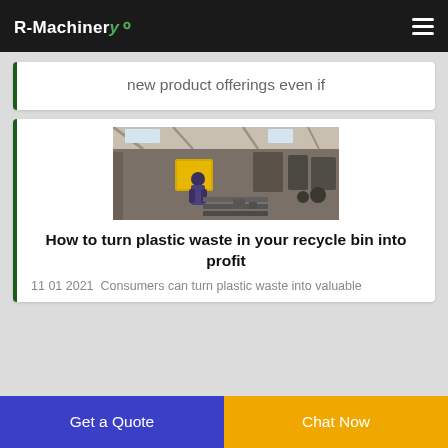R-Machinery
new product offerings even if
[Figure (photo): Factory floor with workers and industrial machinery, large warehouse space]
How to turn plastic waste in your recycle bin into profit
11 01 2021  Consumers can turn plastic waste into valuable
Get a Quote
Chat Now